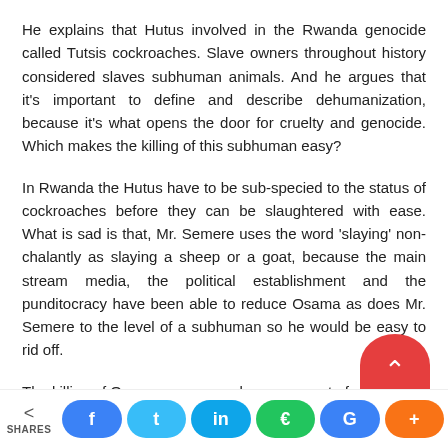He explains that Hutus involved in the Rwanda genocide called Tutsis cockroaches. Slave owners throughout history considered slaves subhuman animals. And he argues that it's important to define and describe dehumanization, because it's what opens the door for cruelty and genocide. Which makes the killing of this subhuman easy?
In Rwanda the Hutus have to be sub-specied to the status of cockroaches before they can be slaughtered with ease. What is sad is that, Mr. Semere uses the word 'slaying' non-chalantly as slaying a sheep or a goat, because the main stream media, the political establishment and the punditocracy have been able to reduce Osama as does Mr. Semere to the level of a subhuman so he would be easy to rid off.
The killing of Osama an unarmed man was not of course f